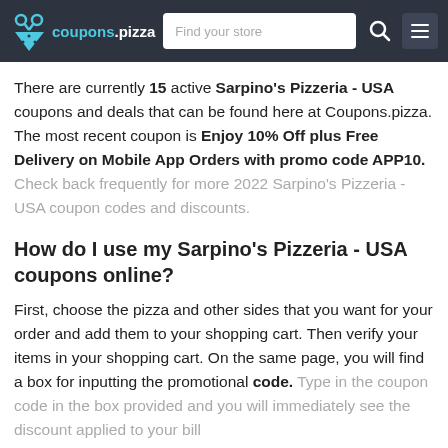coupons.pizza — Find your store
There are currently 15 active Sarpino's Pizzeria - USA coupons and deals that can be found here at Coupons.pizza. The most recent coupon is Enjoy 10% Off plus Free Delivery on Mobile App Orders with promo code APP10. Check back frequently for more 2022 Sarpino's Pizzeria - USA coupon codes and discounts.
How do I use my Sarpino's Pizzeria - USA coupons online?
First, choose the pizza and other sides that you want for your order and add them to your shopping cart. Then verify your items in your shopping cart. On the same page, you will find a box for inputting the promotional code. Type in the coupon code in the box provided and you will immediately see the discount applied to your bill